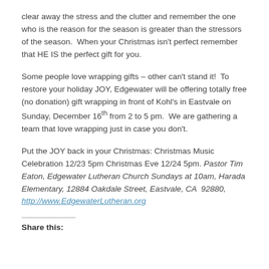clear away the stress and the clutter and remember the one who is the reason for the season is greater than the stressors of the season.  When your Christmas isn't perfect remember that HE IS the perfect gift for you.
Some people love wrapping gifts – other can't stand it!  To restore your holiday JOY, Edgewater will be offering totally free (no donation) gift wrapping in front of Kohl's in Eastvale on Sunday, December 16th from 2 to 5 pm.  We are gathering a team that love wrapping just in case you don't.
Put the JOY back in your Christmas: Christmas Music Celebration 12/23 5pm Christmas Eve 12/24 5pm. Pastor Tim Eaton, Edgewater Lutheran Church Sundays at 10am, Harada Elementary, 12884 Oakdale Street, Eastvale, CA  92880, http://www.EdgewaterLutheran.org
Share this: